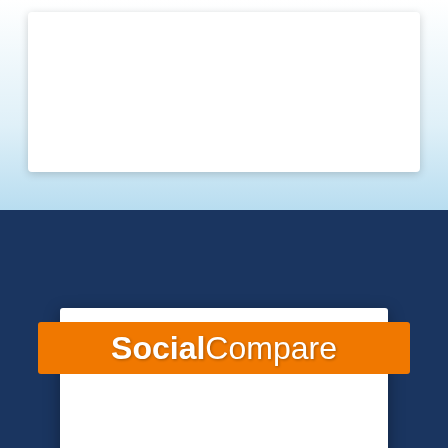[Figure (infographic): Top half has a white-to-light-blue gradient background with a white rounded card. Bottom half is dark navy blue. An orange ribbon banner overlaid on the boundary reads 'SocialCompare' (bold 'Social', regular 'Compare') in white, with folded tab ends. Below the ribbon on a white card panel is descriptive text.]
SocialCompare
The crowsourced collaborative comparison engine to create and share comparison tables.